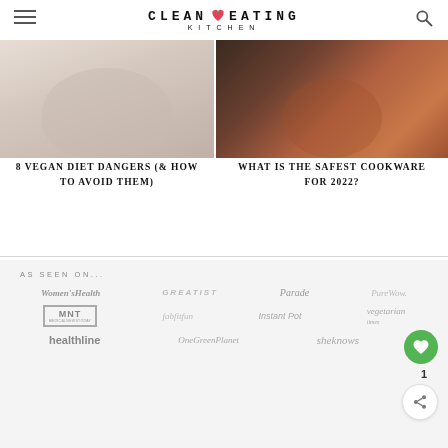CLEAN EATING KITCHEN
[Figure (photo): Image of a bowl/plate, top-down view on white background]
8 VEGAN DIET DANGERS (& HOW TO AVOID THEM)
[Figure (photo): Image of copper cookware]
WHAT IS THE SAFEST COOKWARE FOR 2022?
AS SEEN ON...
[Figure (logo): Women'sHealth logo]
[Figure (logo): GREATIST logo]
[Figure (logo): Parade logo]
[Figure (logo): PureWow logo]
[Figure (logo): MedicalNewsToday MNT logo]
[Figure (logo): fabfitfun logo]
[Figure (logo): Instant Pot logo]
[Figure (logo): vegetarian times logo]
[Figure (logo): healthline logo]
[Figure (logo): OneGreenPlanet logo]
[Figure (logo): sheknows logo]